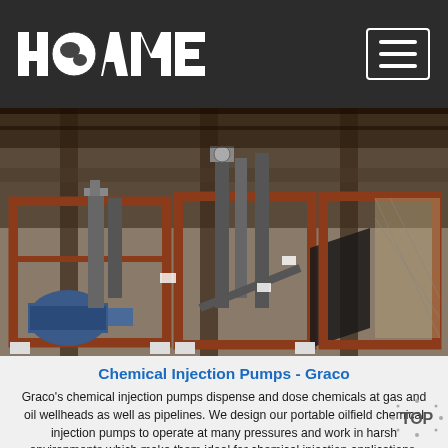HAOMEI
[Figure (photo): Industrial chemical injection pump equipment mounted on red metal frames inside a warehouse or industrial facility. Multiple pump units visible with motors, pipes, and mechanical components.]
Chemical Injection Pumps - Graco
Graco's chemical injection pumps dispense and dose chemicals at gas and oil wellheads as well as pipelines. We design our portable oilfield chemical injection pumps to operate at many pressures and work in harsh environments which make them ideal for chemical injection applications. We produce them in